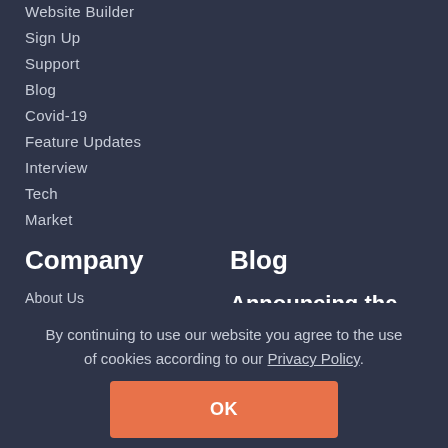Website Builder
Sign Up
Support
Blog
Covid-19
Feature Updates
Interview
Tech
Market
Company
About Us
Contact Us
Blog
Affiliate Program
Privacy Policy
Blog
Announcing the Airbnb REST API Connection
Our team has put countless hours ... experience on Sirvoy–It's what ... it's what we love. ... Read more...
By continuing to use our website you agree to the use of cookies according to our Privacy Policy.